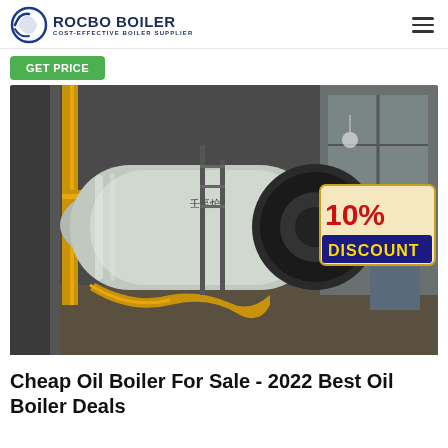ROCBO BOILER — COST-EFFECTIVE BOILER SUPPLIER
Get Price
[Figure (photo): Large industrial oil boiler in a factory/warehouse setting with yellow piping and a 10% DISCOUNT badge overlay in the upper right corner.]
Cheap Oil Boiler For Sale - 2022 Best Oil Boiler Deals